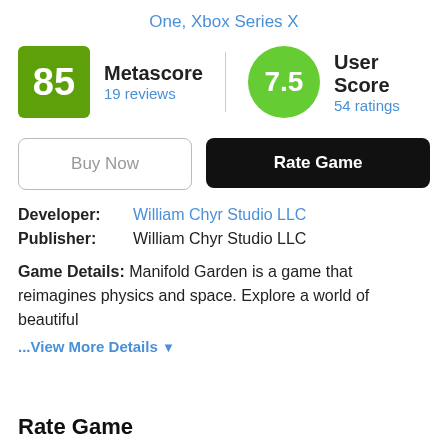One, Xbox Series X
Metascore 19 reviews | 85
User Score 54 ratings | 7.5
Buy Now
Rate Game
Developer: William Chyr Studio LLC
Publisher: William Chyr Studio LLC
Game Details: Manifold Garden is a game that reimagines physics and space. Explore a world of beautiful
...View More Details
Rate Game